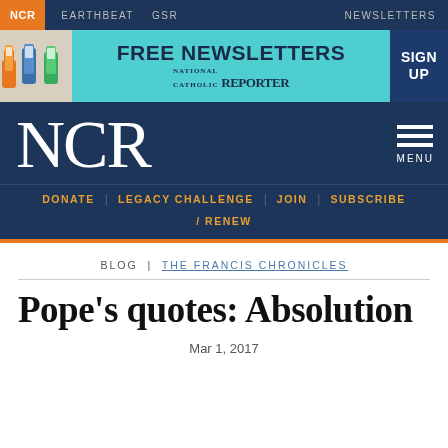NCR  EARTHBEAT  GSR  NEWSLETTERS
[Figure (infographic): National Catholic Reporter banner ad: FREE NEWSLETTERS with colorful hands holding devices, SIGN UP button]
NCR  MENU
DONATE  LEGACY CHALLENGE  JOIN  SUBSCRIBE / RENEW
BLOG | THE FRANCIS CHRONICLES
Pope's quotes: Absolution
Mar 1, 2017